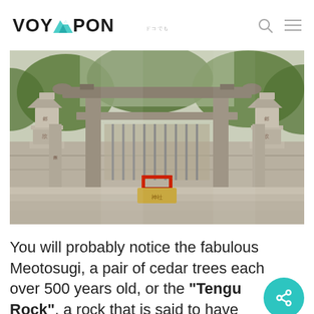VOYAPON
[Figure (photo): A Japanese torii gate at a shrine, with stone lanterns on either side, stone steps leading up, and a small red offering table in the center. Trees are visible in the background.]
You will probably notice the fabulous Meotosugi, a pair of cedar trees each over 500 years old, or the "Tengu Rock", a rock that is said to have been placed by the hands of one of the